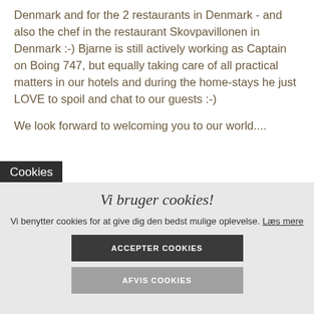Denmark and for the 2 restaurants in Denmark - and also the chef in the restaurant Skovpavillonen in Denmark :-) Bjarne is still actively working as Captain on Boing 747, but equally taking care of all practical matters in our hotels and during the home-stays he just LOVE to spoil and chat to our guests :-)
We look forward to welcoming you to our world....
Cookies
[Figure (screenshot): Cookie consent overlay with title 'Vi bruger cookies!', description text in Danish, and two buttons: ACCEPTER COOKIES and AFVIS COOKIES]